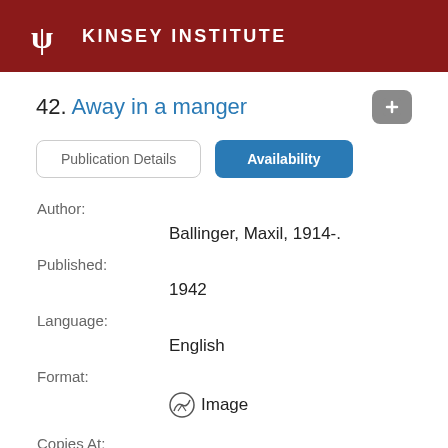KINSEY INSTITUTE
42. Away in a manger
Publication Details | Availability
Author: Ballinger, Maxil, 1914-.
Published: 1942
Language: English
Format: Image
Copies At: Kinsey Institute